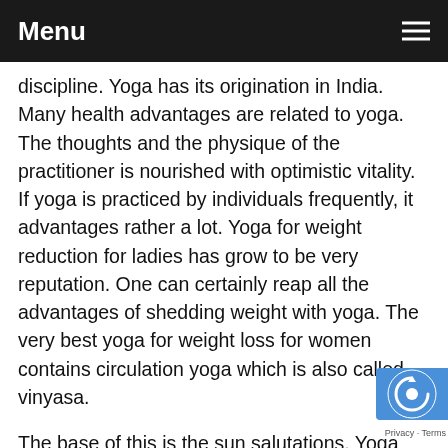Menu
discipline. Yoga has its origination in India. Many health advantages are related to yoga. The thoughts and the physique of the practitioner is nourished with optimistic vitality. If yoga is practiced by individuals frequently, it advantages rather a lot. Yoga for weight reduction for ladies has grow to be very reputation. One can certainly reap all the advantages of shedding weight with yoga. The very best yoga for weight loss for women contains circulation yoga which is also called vinyasa.
The base of this is the sun salutations. Yoga has gained rather a lot of popularity among popular, athletic and sweat frightening positions. Given beneath are the